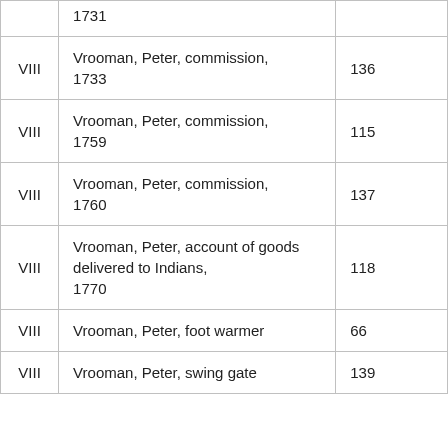| Vol. | Description | Page |
| --- | --- | --- |
|  | 1731 |  |
| VIII | Vrooman, Peter, commission, 1733 | 136 |
| VIII | Vrooman, Peter, commission, 1759 | 115 |
| VIII | Vrooman, Peter, commission, 1760 | 137 |
| VIII | Vrooman, Peter, account of goods delivered to Indians, 1770 | 118 |
| VIII | Vrooman, Peter, foot warmer | 66 |
| VIII | Vrooman, Peter, swing gate | 139 |